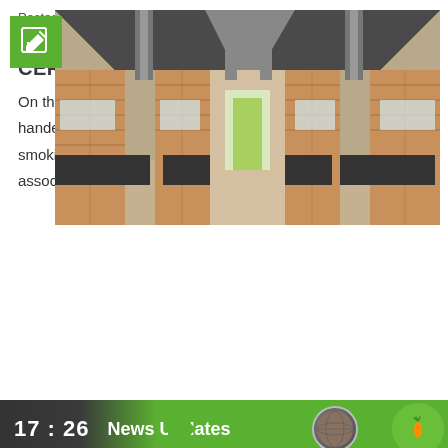[Figure (photo): Interior of a fish smoking facility under construction, showing brick columns, metal roof structure, and a long corridor with natural light at the end.]
Posted on August 13, 2022
SITE HANDING OVER CEREMONY
On the 10th of August 2022, GAMWORKS handed over a GMD 5,2 million fish smoking facility to the Fisheries association at the Brufut fish landing
17 : 26   News Updates